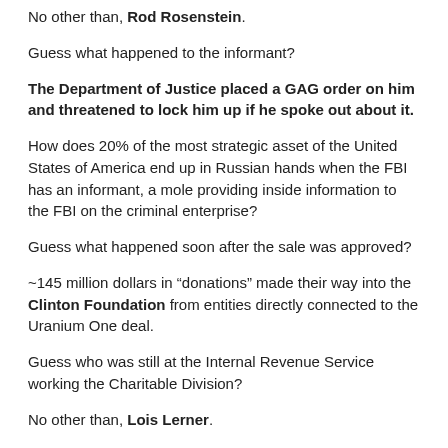No other than, Rod Rosenstein.
Guess what happened to the informant?
The Department of Justice placed a GAG order on him and threatened to lock him up if he spoke out about it.
How does 20% of the most strategic asset of the United States of America end up in Russian hands when the FBI has an informant, a mole providing inside information to the FBI on the criminal enterprise?
Guess what happened soon after the sale was approved?
~145 million dollars in “donations” made their way into the Clinton Foundation from entities directly connected to the Uranium One deal.
Guess who was still at the Internal Revenue Service working the Charitable Division?
No other than, Lois Lerner.
Ok, that’s all just another series of coincidences, nothing to see here, right?
Let’s fast forward to 2015.